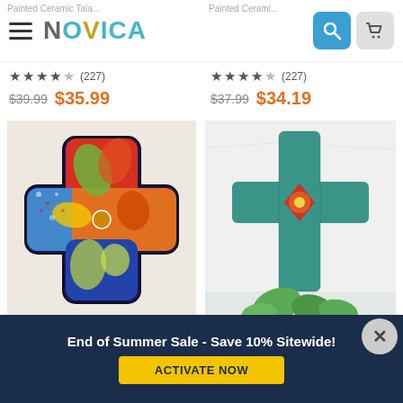NOVICA
★★★★☆ (227)  $39.99  $35.99
★★★★☆ (227)  $37.99  $34.19
[Figure (photo): Colorful painted ceramic cross with floral and leaf patterns in red, orange, yellow, green and blue on beige background]
[Figure (photo): Teal/turquoise textured ceramic cross with red and orange flower center piece, mounted on white wall with green plants below]
Spanish Faith, Talavera...
Heart of Faith, Signed...
End of Summer Sale - Save 10% Sitewide!
ACTIVATE NOW